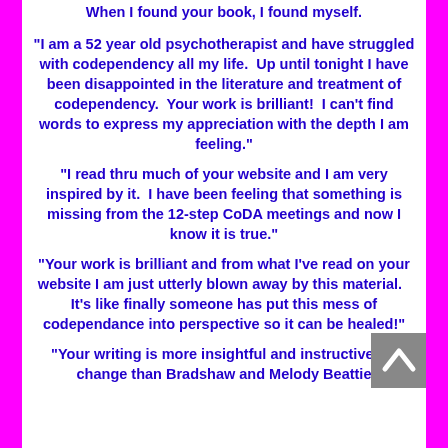When I found your book, I found myself.
"I am a 52 year old psychotherapist and have struggled with codependency all my life.  Up until tonight I have been disappointed in the literature and treatment of codependency.  Your work is brilliant!  I can't find words to express my appreciation with the depth I am feeling."
"I read thru much of your website and I am very inspired by it.  I have been feeling that something is missing from the 12-step CoDA meetings and now I know it is true."
"Your work is brilliant and from what I've read on your website I am just utterly blown away by this material.   It's like finally someone has put this mess of codependance into perspective so it can be healed!"
"Your writing is more insightful and instructive for change than Bradshaw and Melody Beattie